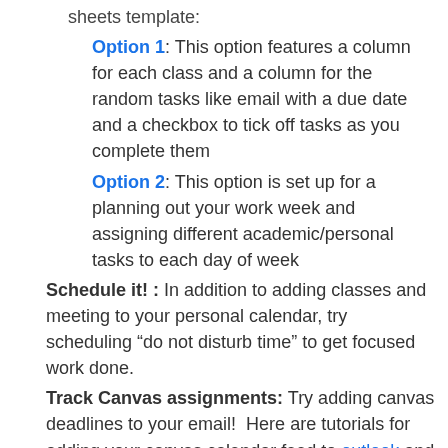sheets template:
Option 1: This option features a column for each class and a column for the random tasks like email with a due date and a checkbox to tick off tasks as you complete them
Option 2: This option is set up for a planning out your work week and assigning different academic/personal tasks to each day of week
Schedule it! : In addition to adding classes and meeting to your personal calendar, try scheduling “do not disturb time” to get focused work done.
Track Canvas assignments: Try adding canvas deadlines to your email!  Here are tutorials for adding your canvas calendar feed to outlook and gmail.